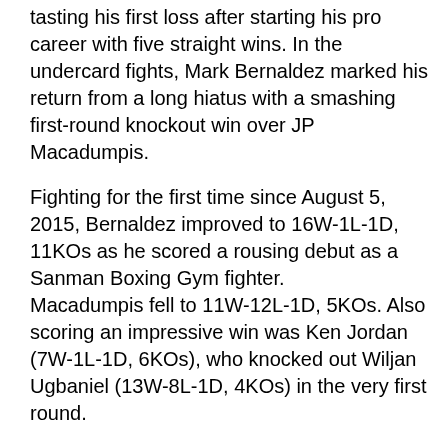tasting his first loss after starting his pro career with five straight wins. In the undercard fights, Mark Bernaldez marked his return from a long hiatus with a smashing first-round knockout win over JP Macadumpis.
Fighting for the first time since August 5, 2015, Bernaldez improved to 16W-1L-1D, 11KOs as he scored a rousing debut as a Sanman Boxing Gym fighter.
Macadumpis fell to 11W-12L-1D, 5KOs. Also scoring an impressive win was Ken Jordan (7W-1L-1D, 6KOs), who knocked out Wiljan Ugbaniel (13W-8L-1D, 4KOs) in the very first round.
Ernie Sanchez, on the other hand, dispatched Noel Adelmita in the second round to hike his record to 18W-11L-1D, 9KOs. Adelmita slid to 13W-13L-2D, 2KOs. In other fights, Jayson Franciso defeated